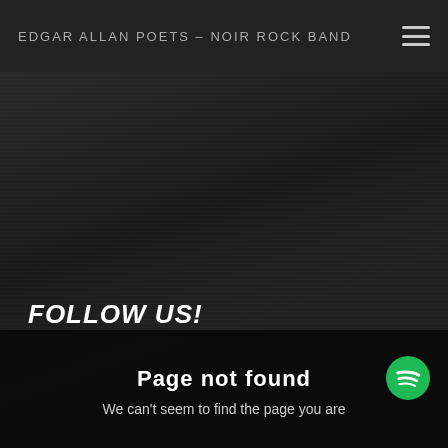EDGAR ALLAN POETS – NOIR ROCK BAND
[Figure (illustration): Dark textured background with wood grain / brushed dark surface texture, very dark charcoal tones]
FOLLOW US!
Page not found
We can't seem to find the page you are looking for.